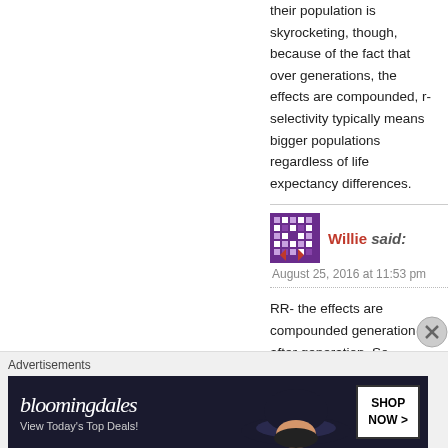their population is skyrocketing, though, because of the fact that over generations, the effects are compounded, r-selectivity typically means bigger populations regardless of life expectancy differences.
Willie said: August 25, 2016 at 11:53 pm
RR- the effects are compounded generation after generation. So regardless of life expectancy changes, r-selected populations would
Advertisements
[Figure (other): Bloomingdales advertisement banner: 'View Today's Top Deals! SHOP NOW >']